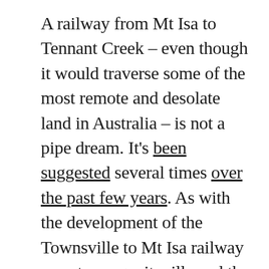A railway from Mt Isa to Tennant Creek – even though it would traverse some of the most remote and desolate land in Australia – is not a pipe dream. It's been suggested several times over the past few years. As with the development of the Townsville to Mt Isa railway a century ago, it will need the investment of the mining industry in order to actually happen. Unfortunately, the current economic situation means that mining companies are unlikely to invest in such a project at this time; what's more, The Inlander